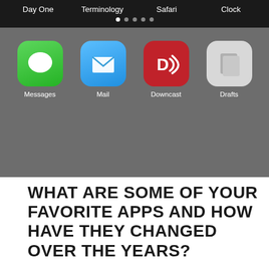[Figure (screenshot): iPhone home screen showing two rows of app icons. Top row labels: Day One, Terminology, Safari, Clock with pagination dots. Bottom area shows: Messages (green), Mail (blue), Downcast (red), Drafts (gray) icons on dark gray background.]
WHAT ARE SOME OF YOUR FAVORITE APPS AND HOW HAVE THEY CHANGED OVER THE YEARS?
So many changes since the last time. In particular, what was my (admittedly self serving) favorite app in 2011, an iPhone-formatted homemade weather webapp that still works, has since been banished to a nether screen in favor